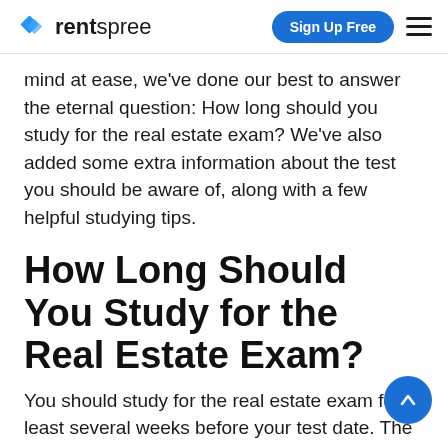rentspree | Sign Up Free
mind at ease, we've done our best to answer the eternal question: How long should you study for the real estate exam? We've also added some extra information about the test you should be aware of, along with a few helpful studying tips.
How Long Should You Study for the Real Estate Exam?
You should study for the real estate exam for at least several weeks before your test date. The whole point of taking your pre-licensing course is to prepare you, first for the exam, and then fo